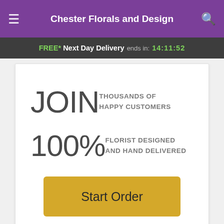Chester Florals and Design
FREE* Next Day Delivery ends in: 14:11:52
JOIN THOUSANDS OF HAPPY CUSTOMERS
100% FLORIST DESIGNED AND HAND DELIVERED
Description
Want to see them smile? Give them the gift of sunshine! These yellow beauties will bring a bright ray of joy to their
Start Order